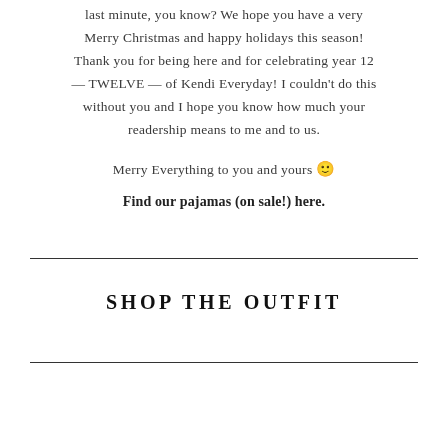last minute, you know? We hope you have a very Merry Christmas and happy holidays this season! Thank you for being here and for celebrating year 12 — TWELVE — of Kendi Everyday! I couldn't do this without you and I hope you know how much your readership means to me and to us.
Merry Everything to you and yours 🙂
Find our pajamas (on sale!) here.
SHOP THE OUTFIT